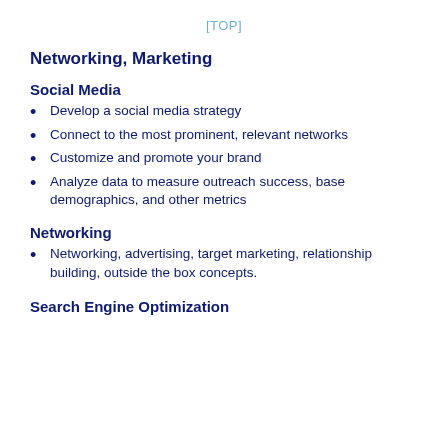[TOP]
Networking, Marketing
Social Media
Develop a social media strategy
Connect to the most prominent, relevant networks
Customize and promote your brand
Analyze data to measure outreach success, base demographics, and other metrics
Networking
Networking, advertising, target marketing, relationship building, outside the box concepts.
Search Engine Optimization